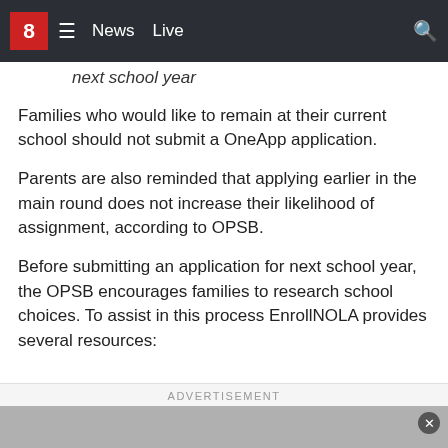8 ≡ News Live 🔍
next school year
Families who would like to remain at their current school should not submit a OneApp application.
Parents are also reminded that applying earlier in the main round does not increase their likelihood of assignment, according to OPSB.
Before submitting an application for next school year, the OPSB encourages families to research school choices. To assist in this process EnrollNOLA provides several resources:
ADVERTISEMENT